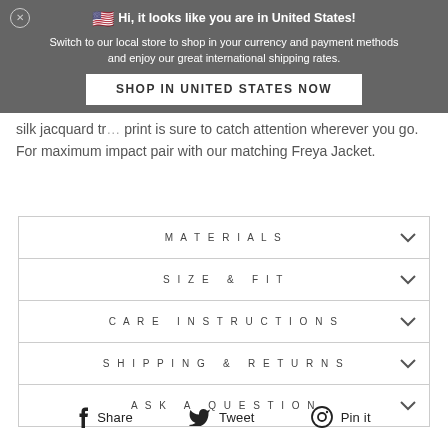Hi, it looks like you are in United States! Switch to our local store to shop in your currency and payment methods and enjoy our great international shipping rates.
SHOP IN UNITED STATES NOW
silk jacquard tr... print is sure to catch attention wherever you go. For maximum impact pair with our matching Freya Jacket.
MATERIALS
SIZE & FIT
CARE INSTRUCTIONS
SHIPPING & RETURNS
ASK A QUESTION
Share  Tweet  Pin it